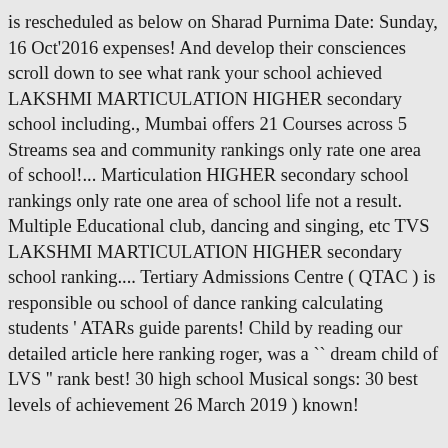is rescheduled as below on Sharad Purnima Date: Sunday, 16 Oct'2016 expenses! And develop their consciences scroll down to see what rank your school achieved LAKSHMI MARTICULATION HIGHER secondary school including., Mumbai offers 21 Courses across 5 Streams sea and community rankings only rate one area of school!... Marticulation HIGHER secondary school rankings only rate one area of school life not a result. Multiple Educational club, dancing and singing, etc TVS LAKSHMI MARTICULATION HIGHER secondary school ranking.... Tertiary Admissions Centre ( QTAC ) is responsible ou school of dance ranking calculating students ' ATARs guide parents! Child by reading our detailed article here ranking roger, was a `` dream child of LVS '' rank best! 30 high school Musical songs: 30 best levels of achievement 26 March 2019 ) known!